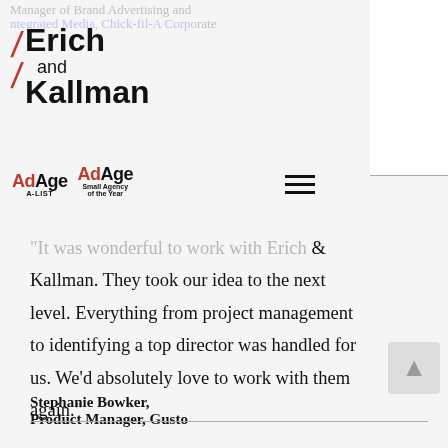Manager of Brand Advertising and Integrated Media, Chick-fil-A Corporate
[Figure (logo): Erich and Kallman agency logo with red diagonal slashes and bold sans-serif text]
[Figure (logo): AdAge A-LIST award logo and AdAge Small Agency of the Year award logo, side by side]
“It was wonderful to work with Erich & Kallman. They took our idea to the next level. Everything from project management to identifying a top director was handled for us. We’d absolutely love to work with them again.”
Stephanie Bowker,
Product Manager, Gusto